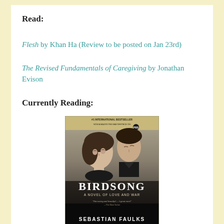Read:
Flesh by Khan Ha (Review to be posted on Jan 23rd)
The Revised Fundamentals of Caregiving by Jonathan Evison
Currently Reading:
[Figure (photo): Book cover of Birdsong: A Novel of Love and War by Sebastian Faulks. Shows a man and woman in period clothing on a dark, moody background. Text reads '#1 International Bestseller, Now a major PBS Masterpiece on PBS' at top. 'BIRDSONG A NOVEL OF LOVE AND WAR' in the middle. 'SEBASTIAN FAULKS' at the bottom.]